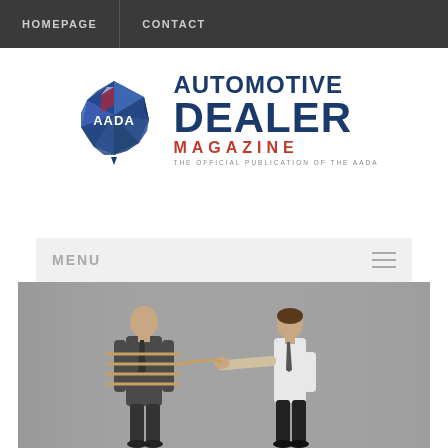HOMEPAGE | CONTACT
[Figure (logo): AADA Automotive Dealer Magazine logo with Australia-shaped blue/red crystal emblem and bold text reading AUTOMOTIVE DEALER MAGAZINE - THE OFFICIAL PUBLICATION OF THE AADA]
MENU
[Figure (photo): Black and white photo of two businessmen, one tied up with rope while the other holds the rope end, against a grey concrete wall background]